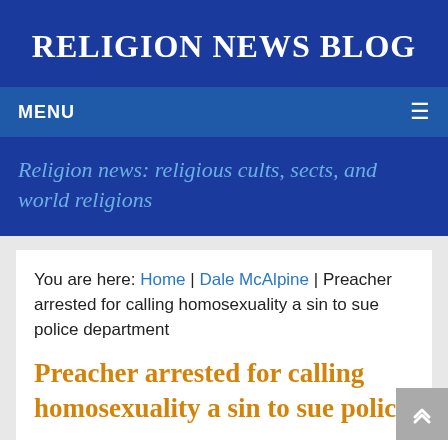RELIGION NEWS BLOG
MENU
Religion news: religious cults, sects, and world religions
You are here: Home | Dale McAlpine | Preacher arrested for calling homosexuality a sin to sue police department
Preacher arrested for calling homosexuality a sin to sue police